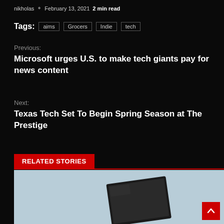nikholas  February 13, 2021  2 min read
Tags: aims  Grocers  Indie  tech
Previous:
Microsoft urges U.S. to make tech giants pay for news content
Next:
Texas Tech Set To Begin Spring Season at The Prestige
RELATED STORIES
[Figure (photo): Laptop or tablet device on light blue background]